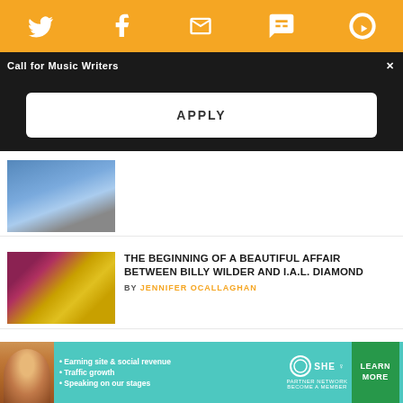Social share bar with Twitter, Facebook, Email, SMS, and RSS icons
Call for Music Writers
APPLY
[Figure (photo): Partial thumbnail of an article image (cut off at top)]
THE BEGINNING OF A BEAUTIFUL AFFAIR BETWEEN BILLY WILDER AND I.A.L. DIAMOND
BY JENNIFER OCALLAGHAN
[Figure (photo): People sitting in cinema seats with drinks]
THE MOUNTAIN GOATS GO TO THE MOVIES
BY ROBERT DANIEL EVERS
[Figure (photo): Director Leah Purcell, partial thumbnail]
DIRECTOR LEAH PURCELL ON REIMAGINING 'THE LEGEND OF MOLLY JOHNSON'
[Figure (infographic): SHE Partner Network advertisement banner with woman photo, bullet points: Earning site & social revenue, Traffic growth, Speaking on our stages. Logo and Learn More button.]